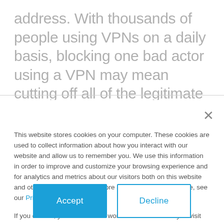address. With thousands of people using VPNs on a daily basis, blocking one bad actor using a VPN may mean cutting off all of the legitimate
This website stores cookies on your computer. These cookies are used to collect information about how you interact with our website and allow us to remember you. We use this information in order to improve and customize your browsing experience and for analytics and metrics about our visitors both on this website and other media. To find out more about the cookies we use, see our Privacy Policy.
If you decline, your information won't be tracked when you visit this website. A single cookie will be used in your browser to remember your preference not to be tracked.